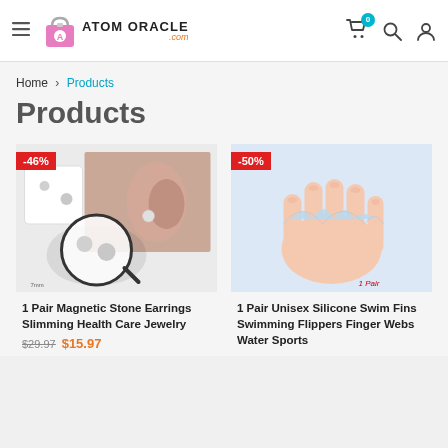Atom Oracle .com — navigation header with hamburger menu, cart (0 items), search, and user icons
Home > Products
Products
[Figure (photo): 1 Pair Magnetic Stone Earrings product photo showing pearl earrings on a white card and worn on an ear, with a magnifying glass zoom view, 2mm label. Discount badge: -46%]
1 Pair Magnetic Stone Earrings Slimming Health Care Jewelry
$29.97  $15.97
[Figure (photo): 1 Pair Unisex Silicone Swim Fins product photo showing blue silicone webbed finger gloves worn on a hand. Label: 1 Pair. Discount badge: -50%]
1 Pair Unisex Silicone Swim Fins Swimming Flippers Finger Webs Water Sports